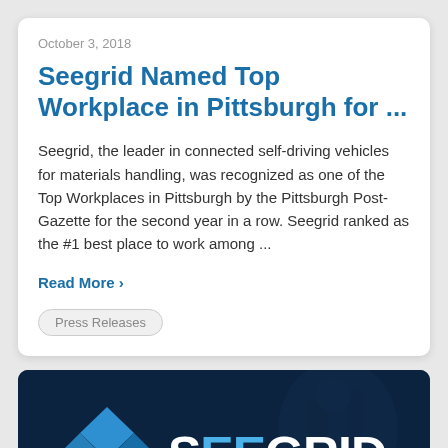October 3, 2018
Seegrid Named Top Workplace in Pittsburgh for ...
Seegrid, the leader in connected self-driving vehicles for materials handling, was recognized as one of the Top Workplaces in Pittsburgh by the Pittsburgh Post-Gazette for the second year in a row. Seegrid ranked as the #1 best place to work among ...
Read More ›
Press Releases
[Figure (logo): Seegrid company logo on dark navy background with blue diamond/kite shape icon and white uppercase SEEGRID wordmark]